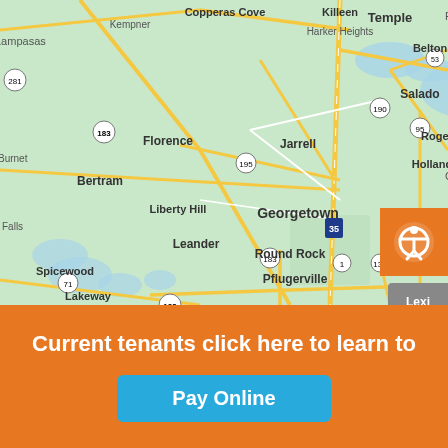[Figure (map): Google Maps view of central Texas showing cities including Georgetown, Round Rock, Pflugerville, Temple, Killeen, Copperas Cove, Harker Heights, Belton, Salado, Holland, Rogers, Florence, Jarrell, Bertram, Liberty Hill, Leander, Hutto, Taylor, Spicewood, Lakewood, Elgin, and road labels including I-35, 183, 195, 190, 95, 53, 281, 71, 1, 130, 290.]
Current tenants click here to learn to
Pay Online